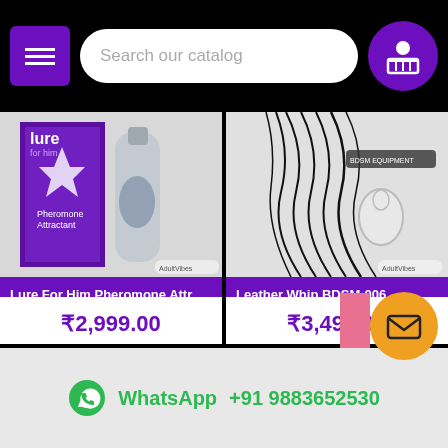[Figure (screenshot): Website header with hamburger menu button, search bar reading 'Search our catalog', and cart icon on purple background]
[Figure (photo): Lure For Him Pheromone Attractant cologne product image showing purple box and bottle]
Lure For Him Pheromone Attract...
₹2,999.00
BUY
[Figure (photo): Leather whip BDSM product image showing black whip with handle on white background]
Leather Whip BDSM-006
₹3,499.00
BUY
WhatsApp +91 9883652530